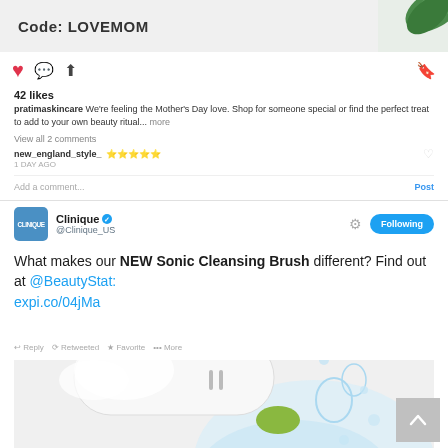[Figure (screenshot): Instagram post top banner showing 'Code: LOVEMOM' with green leaf decoration]
42 likes
pratimaskincare We're feeling the Mother's Day love. Shop for someone special or find the perfect treat to add to your own beauty ritual... more
View all 2 comments
new_england_style_ 🌟🌟🌟🌟🌟
1 DAY AGO
Add a comment...
[Figure (screenshot): Twitter post by Clinique (@Clinique_US) with Following button: 'What makes our NEW Sonic Cleansing Brush different? Find out at @BeautyStat: expi.co/04jMa' with Reply, Retweet, Favorite, More actions, and product photo of white sonic cleansing brush with water splash]